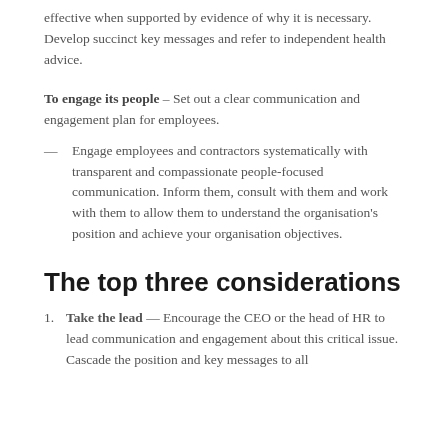effective when supported by evidence of why it is necessary. Develop succinct key messages and refer to independent health advice.
To engage its people – Set out a clear communication and engagement plan for employees.
Engage employees and contractors systematically with transparent and compassionate people-focused communication. Inform them, consult with them and work with them to allow them to understand the organisation's position and achieve your organisation objectives.
The top three considerations
Take the lead — Encourage the CEO or the head of HR to lead communication and engagement about this critical issue. Cascade the position and key messages to all